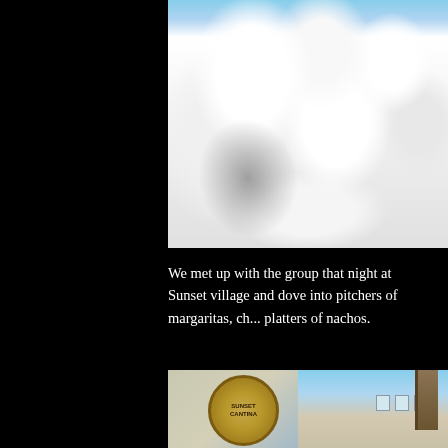[Figure (photo): Snow-covered trees and sculptures heavily laden with white snow against a blue sky, with dramatic snow formations and shadows]
We met up with the group that night at Sunset village and dove into pitchers of margaritas, ch... platters of nachos.
[Figure (photo): Sign for Sunset Cantina restaurant with a circular logo showing a scorpion or lizard, mounted in front of a building with bare winter trees]